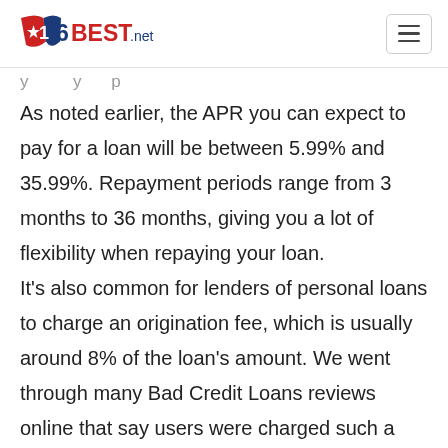16BEST.net
As noted earlier, the APR you can expect to pay for a loan will be between 5.99% and 35.99%. Repayment periods range from 3 months to 36 months, giving you a lot of flexibility when repaying your loan. It's also common for lenders of personal loans to charge an origination fee, which is usually around 8% of the loan's amount. We went through many Bad Credit Loans reviews online that say users were charged such a fee.